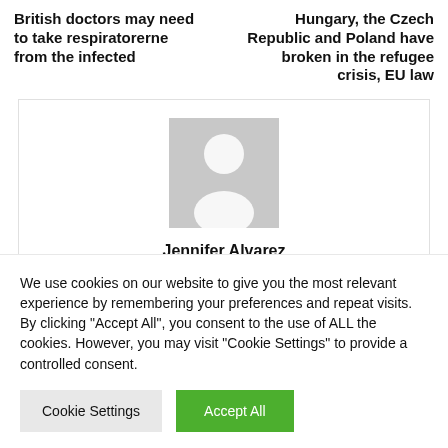British doctors may need to take respiratorerne from the infected
Hungary, the Czech Republic and Poland have broken in the refugee crisis, EU law
[Figure (illustration): Profile card with grey placeholder avatar (silhouette of a person) and name 'Jennifer Alvarez' below it]
We use cookies on our website to give you the most relevant experience by remembering your preferences and repeat visits. By clicking "Accept All", you consent to the use of ALL the cookies. However, you may visit "Cookie Settings" to provide a controlled consent.
Cookie Settings | Accept All